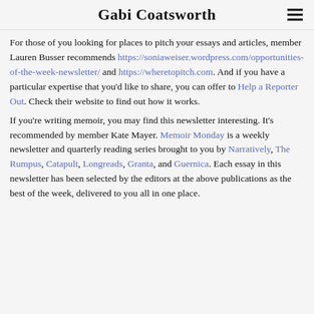Gabi Coatsworth
For those of you looking for places to pitch your essays and articles, member Lauren Busser recommends https://soniaweiser.wordpress.com/opportunities-of-the-week-newsletter/ and https://wheretopitch.com. And if you have a particular expertise that you'd like to share, you can offer to Help a Reporter Out. Check their website to find out how it works. If you're writing memoir, you may find this newsletter interesting. It's recommended by member Kate Mayer. Memoir Monday is a weekly newsletter and quarterly reading series brought to you by Narratively, The Rumpus, Catapult, Longreads, Granta, and Guernica. Each essay in this newsletter has been selected by the editors at the above publications as the best of the week, delivered to you all in one place.